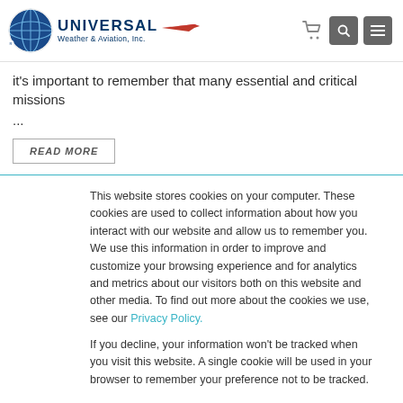[Figure (logo): Universal Weather & Aviation, Inc. logo with globe icon and airplane graphic]
it's important to remember that many essential and critical missions ...
READ MORE
This website stores cookies on your computer. These cookies are used to collect information about how you interact with our website and allow us to remember you. We use this information in order to improve and customize your browsing experience and for analytics and metrics about our visitors both on this website and other media. To find out more about the cookies we use, see our Privacy Policy.
If you decline, your information won't be tracked when you visit this website. A single cookie will be used in your browser to remember your preference not to be tracked.
Accept
Decline